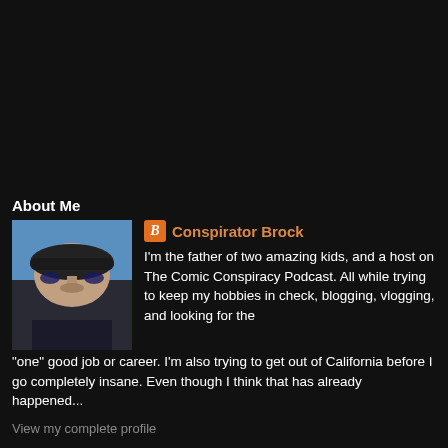About Me
[Figure (photo): Profile photo of Conspirator Brock, a person wearing sunglasses and a hat, photographed from below against a blue sky]
Conspirator Brock
I'm the father of two amazing kids, and a host on The Comic Conspiracy Podcast. All while trying to keep my hobbies in check, blogging, vlogging, and looking for the "one" good job or career. I'm also trying to get out of California before I go completely insane. Even though I think that has already happened...
View my complete profile